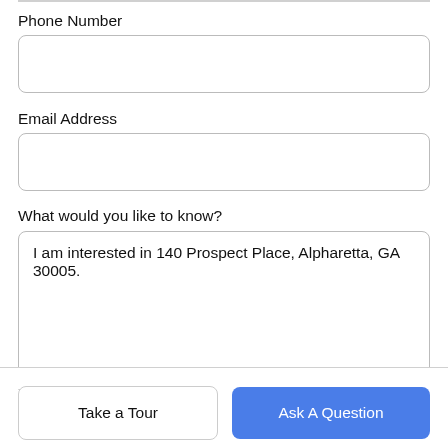Phone Number
[Figure (screenshot): Empty text input field for Phone Number]
Email Address
[Figure (screenshot): Empty text input field for Email Address]
What would you like to know?
[Figure (screenshot): Textarea with text: I am interested in 140 Prospect Place, Alpharetta, GA 30005.]
Take a Tour
Ask A Question